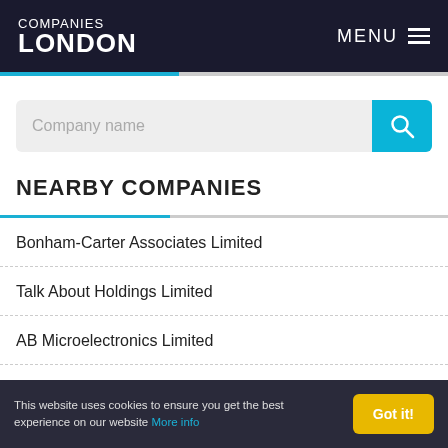COMPANIES LONDON — MENU
Company name
NEARBY COMPANIES
Bonham-Carter Associates Limited
Talk About Holdings Limited
AB Microelectronics Limited
Yerrus Number Three Limited
This website uses cookies to ensure you get the best experience on our website More info  Got it!